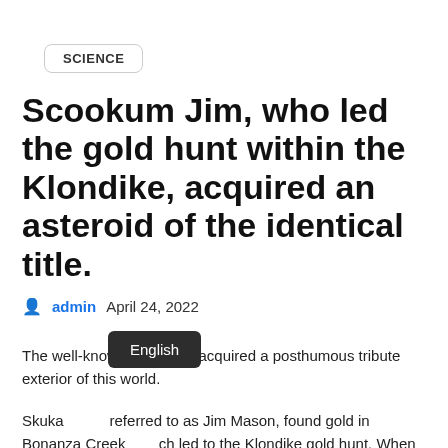SCIENCE
Scookum Jim, who led the gold hunt within the Klondike, acquired an asteroid of the identical title.
admin   April 24, 2022
The well-known Yugonner acquired a posthumous tribute exterior of this world.
Skuka referred to as Jim Mason, found gold in Bonanza Creek ch led to the Klondike gold hunt. When he died in 1916, ealth right into a belief fund to enhance the lives of